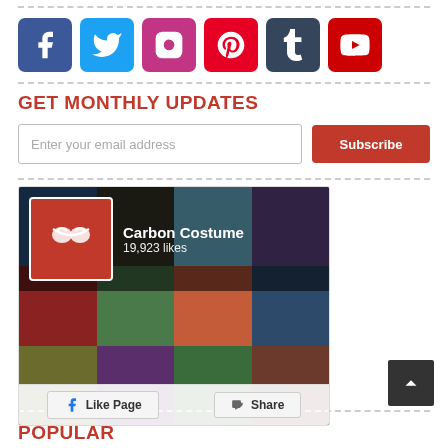[Figure (other): Social media icon buttons row: Facebook, Twitter, Instagram, Pinterest, Tumblr, YouTube]
GET MONTHLY UPDATES
[Figure (other): Email subscription form with input field and Subscribe button]
[Figure (other): Carbon Costume Facebook page widget showing 19,923 likes with collage of images, Like Page and Share buttons]
POPULAR